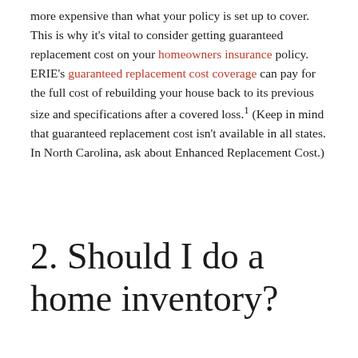more expensive than what your policy is set up to cover. This is why it's vital to consider getting guaranteed replacement cost on your homeowners insurance policy. ERIE's guaranteed replacement cost coverage can pay for the full cost of rebuilding your house back to its previous size and specifications after a covered loss.¹ (Keep in mind that guaranteed replacement cost isn't available in all states. In North Carolina, ask about Enhanced Replacement Cost.)
2. Should I do a home inventory?